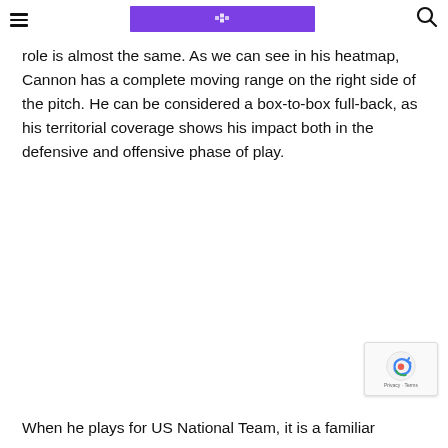[hamburger menu] [logo] [search icon]
role is almost the same. As we can see in his heatmap, Cannon has a complete moving range on the right side of the pitch. He can be considered a box-to-box full-back, as his territorial coverage shows his impact both in the defensive and offensive phase of play.
When he plays for US National Team, it is a familiar